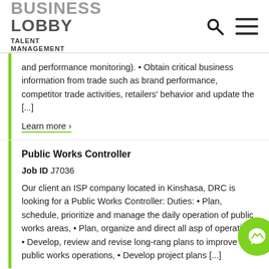BUSINESS LOBBY TALENT MANAGEMENT
and performance monitoring). • Obtain critical business information from trade such as brand performance, competitor trade activities, retailers' behavior and update the [...]
Learn more ›
Public Works Controller
Job ID J7036
Our client an ISP company located in Kinshasa, DRC is looking for a Public Works Controller: Duties: • Plan, schedule, prioritize and manage the daily operation of public works areas, • Plan, organize and direct all asp of operations, • Develop, review and revise long-rang plans to improve public works operations, • Develop project plans [...]